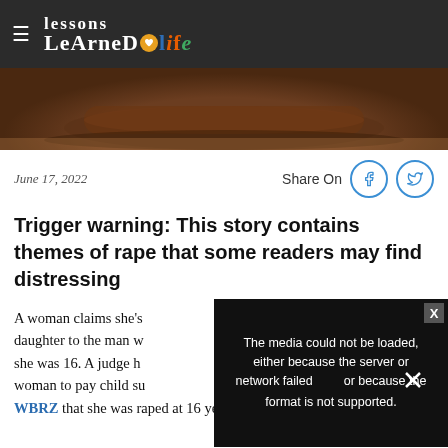Lessons Learned in Life
[Figure (photo): Close-up photo of a wooden judge's gavel on a desk]
June 17, 2022
Trigger warning: This story contains themes of rape that some readers may find distressing
A woman claims she's daughter to the man who raped her when she was 16. A judge has ordered the woman to pay child support. WBRZ that she was raped at 16 years old by a man
[Figure (screenshot): Video player error overlay: The media could not be loaded, either because the server or network failed or because the format is not supported.]